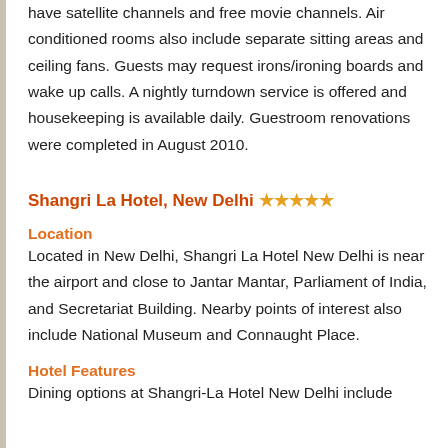have satellite channels and free movie channels. Air conditioned rooms also include separate sitting areas and ceiling fans. Guests may request irons/ironing boards and wake up calls. A nightly turndown service is offered and housekeeping is available daily. Guestroom renovations were completed in August 2010.
Shangri La Hotel, New Delhi ★★★★★
Location
Located in New Delhi, Shangri La Hotel New Delhi is near the airport and close to Jantar Mantar, Parliament of India, and Secretariat Building. Nearby points of interest also include National Museum and Connaught Place.
Hotel Features
Dining options at Shangri-La Hotel New Delhi include